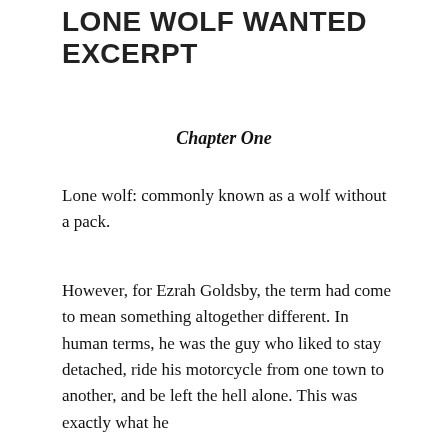LONE WOLF WANTED EXCERPT
Chapter One
Lone wolf: commonly known as a wolf without a pack.
However, for Ezrah Goldsby, the term had come to mean something altogether different. In human terms, he was the guy who liked to stay detached, ride his motorcycle from one town to another, and be left the hell alone. This was exactly what he